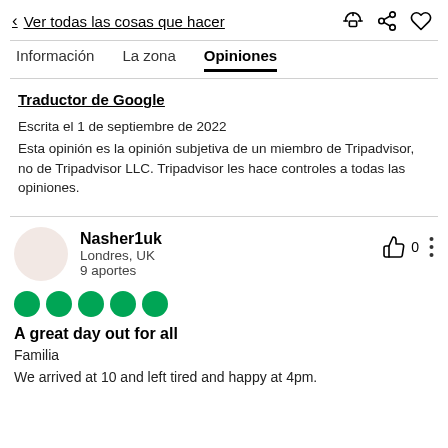< Ver todas las cosas que hacer
Información   La zona   Opiniones
Traductor de Google
Escrita el 1 de septiembre de 2022
Esta opinión es la opinión subjetiva de un miembro de Tripadvisor, no de Tripadvisor LLC. Tripadvisor les hace controles a todas las opiniones.
Nasher1uk
Londres, UK
9 aportes
A great day out for all
Familia
We arrived at 10 and left tired and happy at 4pm.